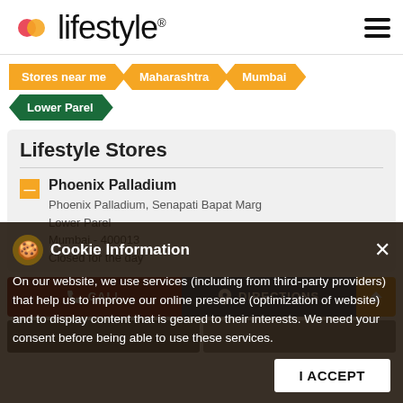[Figure (logo): Lifestyle brand logo with red and orange overlapping dots and the word 'lifestyle' in thin font with registered trademark symbol]
Stores near me
Maharashtra
Mumbai
Lower Parel
Lifestyle Stores
Phoenix Palladium
Phoenix Palladium, Senapati Bapat Marg
Lower Parel
Mumbai - 400013
Closed for the day
Cookie Information
On our website, we use services (including from third-party providers) that help us to improve our online presence (optimization of website) and to display content that is geared to their interests. We need your consent before being able to use these services.
I ACCEPT